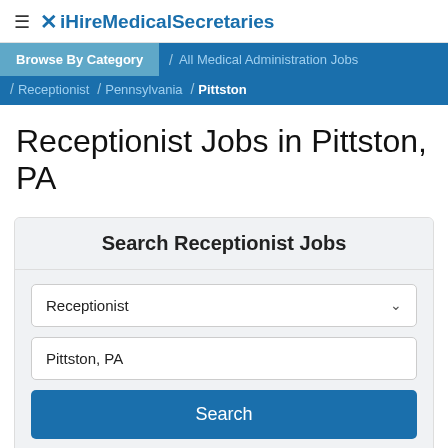≡ ✕ iHireMedicalSecretaries
Browse By Category / All Medical Administration Jobs / Receptionist / Pennsylvania / Pittston
Receptionist Jobs in Pittston, PA
Search Receptionist Jobs
Receptionist
Pittston, PA
Search